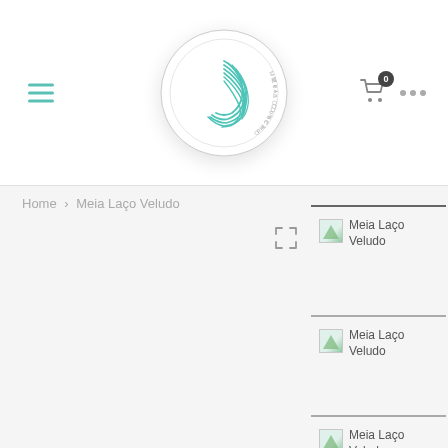[Figure (logo): Circular logo with teal shell/wave design and text 'Meia Concho' around the border]
Home > Meia Laço Veludo
[Figure (screenshot): Expand/fullscreen icon (four arrows pointing outward)]
[Figure (photo): Thumbnail image placeholder: Meia Laço Veludo (1)]
[Figure (photo): Thumbnail image placeholder: Meia Laço Veludo (2)]
[Figure (photo): Thumbnail image placeholder: Meia Laço Veludo (3)]